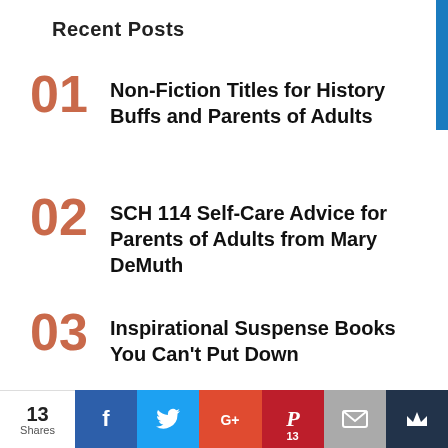Recent Posts
01 Non-Fiction Titles for History Buffs and Parents of Adults
02 SCH 114 Self-Care Advice for Parents of Adults from Mary DeMuth
03 Inspirational Suspense Books You Can't Put Down
04 SCH 113 Self-Care Hacks I've Learned from Parenting
13 Shares | Facebook | Twitter | Google+ | Pinterest 13 | Email | Crown